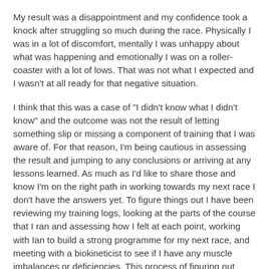My result was a disappointment and my confidence took a knock after struggling so much during the race. Physically I was in a lot of discomfort, mentally I was unhappy about what was happening and emotionally I was on a roller-coaster with a lot of lows. That was not what I expected and I wasn't at all ready for that negative situation.
I think that this was a case of "I didn't know what I didn't know" and the outcome was not the result of letting something slip or missing a component of training that I was aware of. For that reason, I'm being cautious in assessing the result and jumping to any conclusions or arriving at any lessons learned. As much as I'd like to share those and know I'm on the right path in working towards my next race I don't have the answers yet. To figure things out I have been reviewing my training logs, looking at the parts of the course that I ran and assessing how I felt at each point, working with Ian to build a strong programme for my next race, and meeting with a biokineticist to see if I have any muscle imbalances or deficiencies. This process of figuring out what happened and improving will take time and some trial-and-